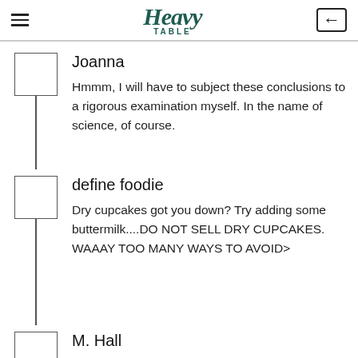Heavy Table
Joanna
Hmmm, I will have to subject these conclusions to a rigorous examination myself. In the name of science, of course.
define foodie
Dry cupcakes got you down? Try adding some buttermilk....DO NOT SELL DRY CUPCAKES. WAAAY TOO MANY WAYS TO AVOID>
M. Hall
I agree that trying to rate cupcakes can be a subjective endeavor, but that's a very mediocre performance for Salty Tart,